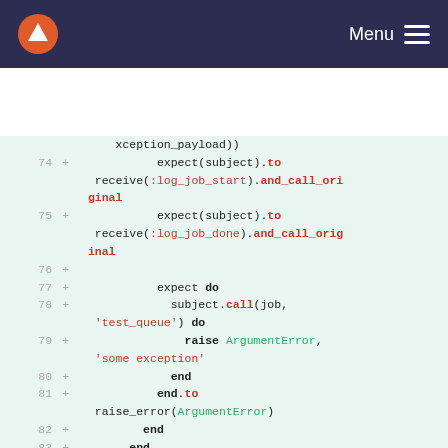Menu
[Figure (screenshot): Code diff view showing Ruby RSpec test code lines 74-86 with line numbers, plus signs, and syntax highlighting on a light green background]